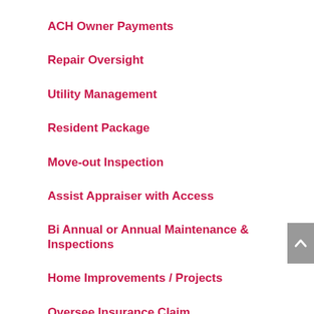ACH Owner Payments
Repair Oversight
Utility Management
Resident Package
Move-out Inspection
Assist Appraiser with Access
Bi Annual or Annual Maintenance & Inspections
Home Improvements / Projects
Oversee Insurance Claim